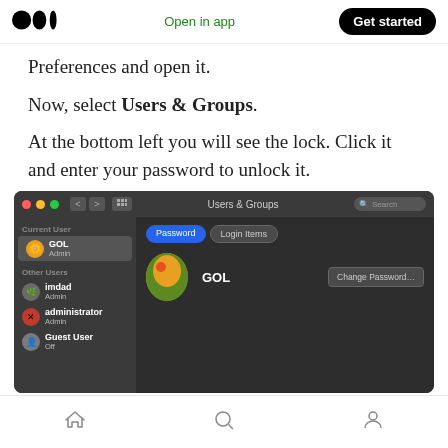Medium logo | Open in app | Get started
Preferences and open it.
Now, select Users & Groups.
At the bottom left you will see the lock. Click it and enter your password to unlock it.
[Figure (screenshot): macOS Users & Groups system preferences window showing Current User GOL (Admin) and Other Users imdad (Admin), administrator (Admin), Guest User (Off). Password and Login Items tabs visible, with Change Password button.]
Home | Search | Profile navigation icons